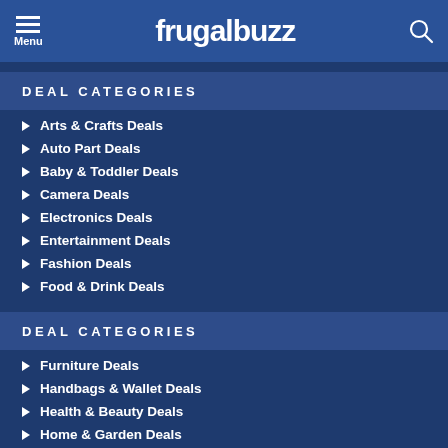frugalbuzz — Menu / Search
DEAL CATEGORIES
Arts & Crafts Deals
Auto Part Deals
Baby & Toddler Deals
Camera Deals
Electronics Deals
Entertainment Deals
Fashion Deals
Food & Drink Deals
DEAL CATEGORIES
Furniture Deals
Handbags & Wallet Deals
Health & Beauty Deals
Home & Garden Deals
Jewelry & Watch Deals
Luggage & Bag Deals